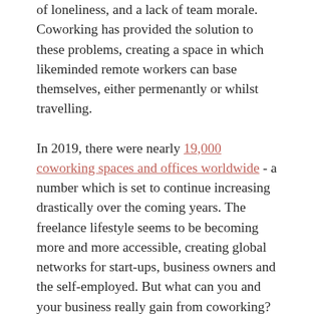of loneliness, and a lack of team morale. Coworking has provided the solution to these problems, creating a space in which likeminded remote workers can base themselves, either permenantly or whilst travelling.
In 2019, there were nearly 19,000 coworking spaces and offices worldwide - a number which is set to continue increasing drastically over the coming years. The freelance lifestyle seems to be becoming more and more accessible, creating global networks for start-ups, business owners and the self-employed. But what can you and your business really gain from coworking?
Here are just 6 of the endless benefits